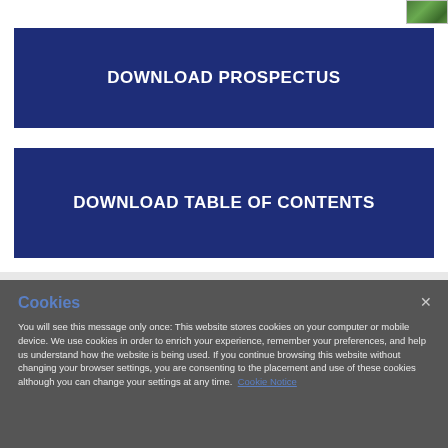[Figure (photo): Partial image visible at top right corner, appears to be green foliage or plant matter]
DOWNLOAD PROSPECTUS
DOWNLOAD TABLE OF CONTENTS
Cookies
You will see this message only once: This website stores cookies on your computer or mobile device. We use cookies in order to enrich your experience, remember your preferences, and help us understand how the website is being used. If you continue browsing this website without changing your browser settings, you are consenting to the placement and use of these cookies although you can change your settings at any time. Cookie Notice